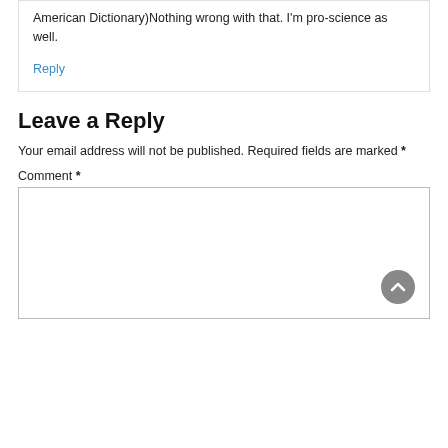American Dictionary)Nothing wrong with that. I'm pro-science as well.
Reply
Leave a Reply
Your email address will not be published. Required fields are marked *
Comment *